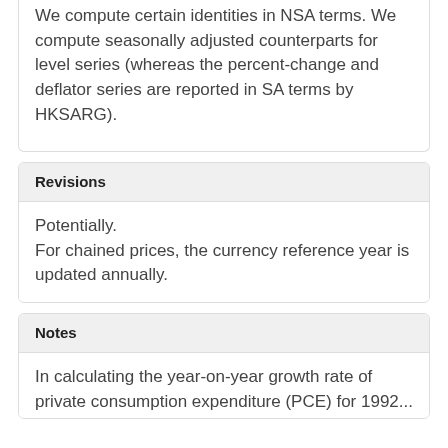We compute certain identities in NSA terms. We compute seasonally adjusted counterparts for level series (whereas the percent-change and deflator series are reported in SA terms by HKSARG).
Revisions
Potentially.
For chained prices, the currency reference year is updated annually.
Notes
In calculating the year-on-year growth rate of private consumption expenditure (PCE) for 1992...